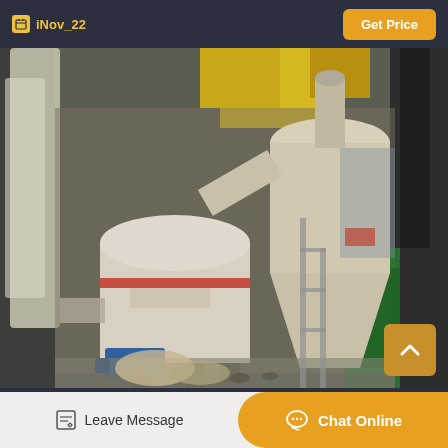iNov_22  Get Price
[Figure (photo): Photo of industrial grinding mill machinery inside a temporary shelter. Large cylindrical mill unit with red stripe and connected cyclone separator/hopper in cream/white color. Yellow fabric material visible at top. Green tarpaulin visible at right side. Construction site or industrial yard setting.]
Used Bandsaw Mill For Sale From Ebay, Craigslist, Letgo
Leave Message
Chat Online